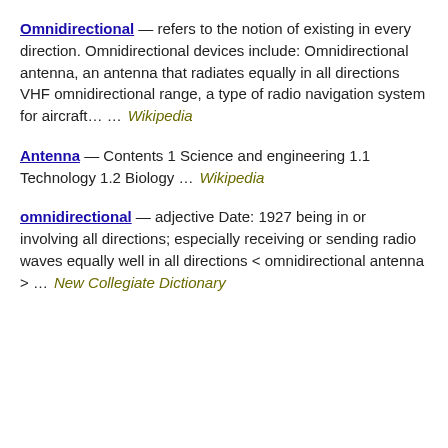Omnidirectional — refers to the notion of existing in every direction. Omnidirectional devices include: Omnidirectional antenna, an antenna that radiates equally in all directions VHF omnidirectional range, a type of radio navigation system for aircraft… …    Wikipedia
Antenna — Contents 1 Science and engineering 1.1 Technology 1.2 Biology …    Wikipedia
omnidirectional — adjective Date: 1927 being in or involving all directions; especially receiving or sending radio waves equally well in all directions < omnidirectional antenna > …    New Collegiate Dictionary